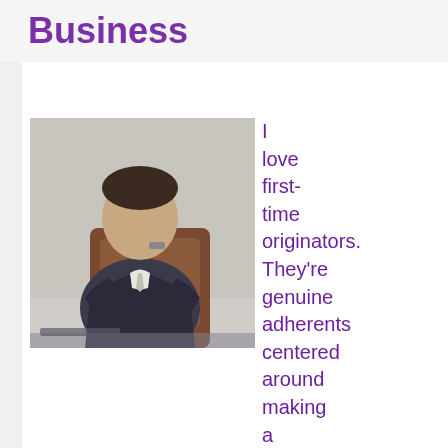Business
[Figure (photo): A man in a suit sitting at a desk with his hands raised to his face, appearing stressed or thoughtful, in front of a computer]
I love first-time originators. They're genuine adherents centered around making a superior future fueled by better thoughts. They're